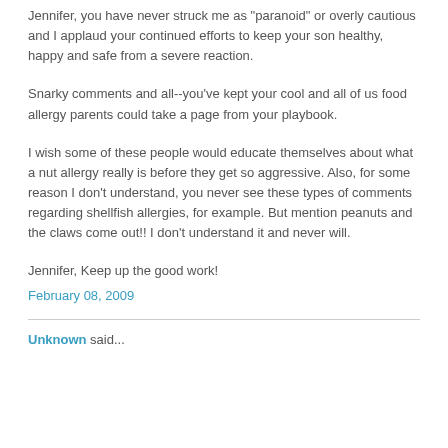Jennifer, you have never struck me as "paranoid" or overly cautious and I applaud your continued efforts to keep your son healthy, happy and safe from a severe reaction.
Snarky comments and all--you've kept your cool and all of us food allergy parents could take a page from your playbook.
I wish some of these people would educate themselves about what a nut allergy really is before they get so aggressive. Also, for some reason I don't understand, you never see these types of comments regarding shellfish allergies, for example. But mention peanuts and the claws come out!! I don't understand it and never will.
Jennifer, Keep up the good work!
February 08, 2009
Unknown said...